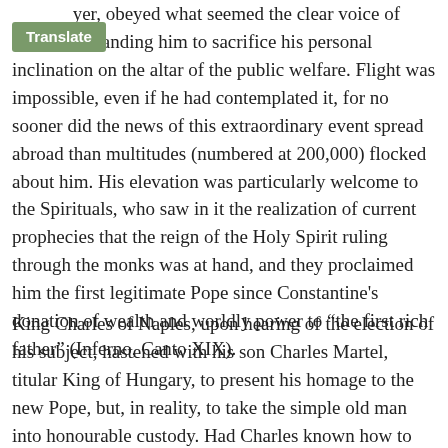a...yer, obeyed what seemed the clear voice of God, commanding him to sacrifice his personal inclination on the altar of the public welfare. Flight was impossible, even if he had contemplated it, for no sooner did the news of this extraordinary event spread abroad than multitudes (numbered at 200,000) flocked about him. His elevation was particularly welcome to the Spirituals, who saw in it the realization of current prophecies that the reign of the Holy Spirit ruling through the monks was at hand, and they proclaimed him the first legitimate Pope since Constantine's donation of wealth and worldly power to “the first rich father” (Inferno, Canto XIX).
King Charles of Naples, upon hearing of the election of his subject, hastened with his son Charles Martel, titular King of Hungary, to present his homage to the new Pope, but, in reality, to take the simple old man into honourable custody. Had Charles known how to